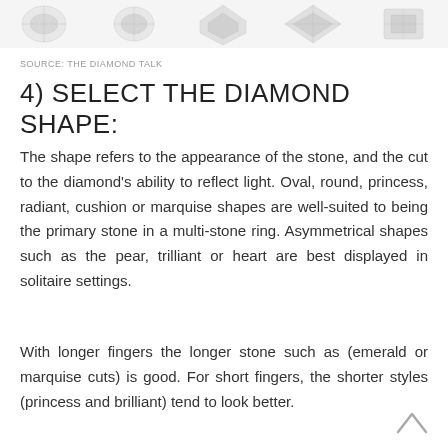[Figure (photo): Row of diamond shapes shown from above against white background, partially cropped at top of page]
SOURCE: THE DIAMOND TALK
4) SELECT THE DIAMOND SHAPE:
The shape refers to the appearance of the stone, and the cut to the diamond's ability to reflect light. Oval, round, princess, radiant, cushion or marquise shapes are well-suited to being the primary stone in a multi-stone ring. Asymmetrical shapes such as the pear, trilliant or heart are best displayed in solitaire settings.
With longer fingers the longer stone such as (emerald or marquise cuts) is good. For short fingers, the shorter styles (princess and brilliant) tend to look better.